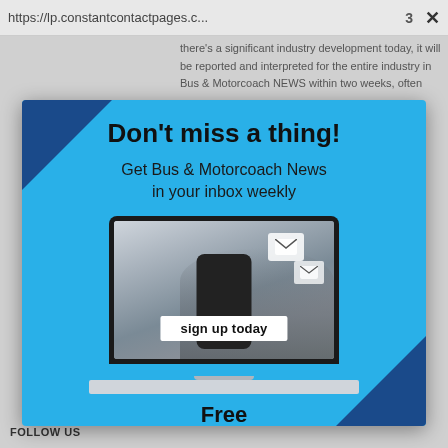https://lp.constantcontactpages.c...   3  ✕
there's a significant industry development today, it will be reported and interpreted for the entire industry in Bus & Motorcoach NEWS within two weeks, often
Don't miss a thing!
Get Bus & Motorcoach News in your inbox weekly
[Figure (illustration): Laptop computer with a screen showing a person holding a smartphone with floating email envelope icons, and a 'sign up today' button overlay on the screen]
Free
Submit News
FOLLOW US